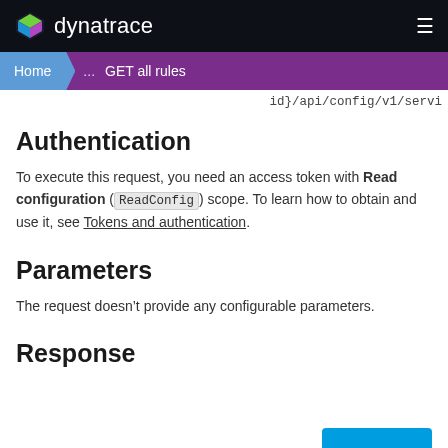dynatrace
Home > ... > GET all rules
id}/api/config/v1/servi
Authentication
To execute this request, you need an access token with Read configuration (ReadConfig) scope. To learn how to obtain and use it, see Tokens and authentication.
Parameters
The request doesn't provide any configurable parameters.
Response